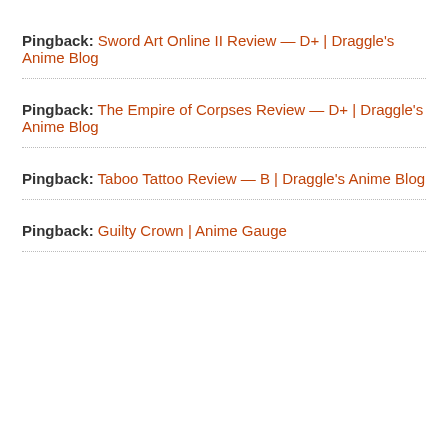Pingback: Sword Art Online II Review — D+ | Draggle's Anime Blog
Pingback: The Empire of Corpses Review — D+ | Draggle's Anime Blog
Pingback: Taboo Tattoo Review — B | Draggle's Anime Blog
Pingback: Guilty Crown | Anime Gauge